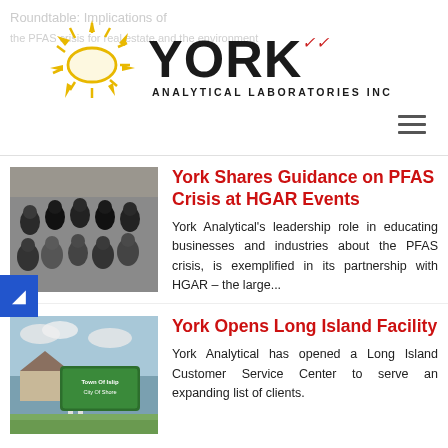[Figure (logo): York Analytical Laboratories Inc logo with sun illustration]
Roundtable: Implications of
[Figure (photo): Group photo of York Analytical team members in formal attire]
York Shares Guidance on PFAS Crisis at HGAR Events
York Analytical's leadership role in educating businesses and industries about the PFAS crisis, is exemplified in its partnership with HGAR – the large...
[Figure (photo): Outdoor photo of a green town sign for a municipality on Long Island]
York Opens Long Island Facility
York Analytical has opened a Long Island Customer Service Center to serve an expanding list of clients.